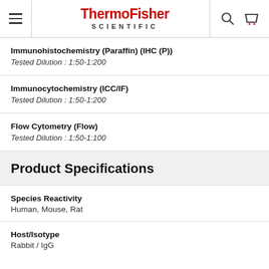ThermoFisher SCIENTIFIC
Immunohistochemistry (Paraffin) (IHC (P))
Tested Dilution : 1:50-1:200
Immunocytochemistry (ICC/IF)
Tested Dilution : 1:50-1:200
Flow Cytometry (Flow)
Tested Dilution : 1:50-1:100
Product Specifications
Species Reactivity
Human, Mouse, Rat
Host/Isotype
Rabbit / IgG